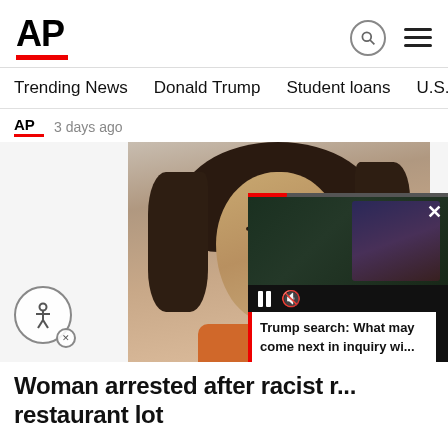AP
Trending News   Donald Trump   Student loans   U.S. Open Tenn
AP  3 days ago
[Figure (photo): Mugshot photo of a woman with dark hair wearing an orange top, with overlaid video popup of Trump search story]
Woman arrested after racist r... restaurant lot